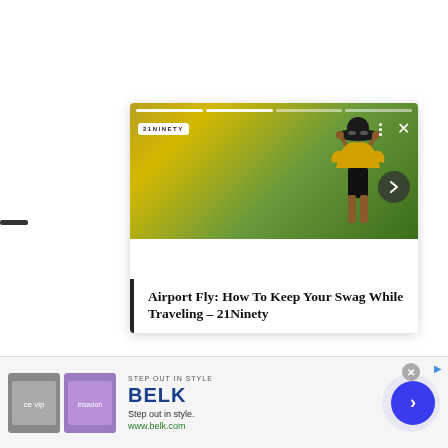[Figure (screenshot): A social media story card showing a woman in a yellow off-shoulder top and wide-brim hat, with a story progress bar at the top, a logo badge, three-dot menu, X close button, and a dark circular forward arrow button. Below the photo is a white section with a bold serif headline.]
Airport Fly: How To Keep Your Swag While Traveling – 21Ninety
[Figure (screenshot): An advertisement banner for BELK. Shows: 'STEP OUT IN STYLE' in small caps, 'BELK' in large bold blue text, 'Step out in style.' tagline, 'www.belk.com' URL in green, two product thumbnail images, a gray X close button, a blue right-arrow icon, and a large blue circular call-to-action arrow button on a light lavender background circle.]